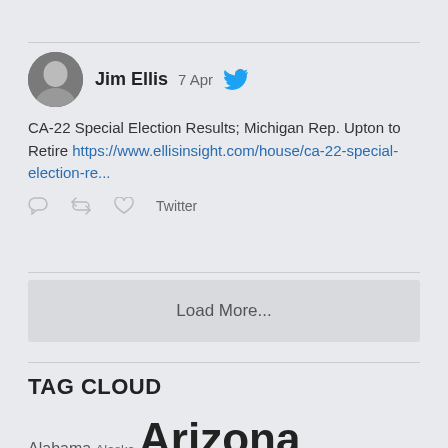[Figure (screenshot): Tweet by Jim Ellis dated 7 Apr with Twitter bird icon, avatar photo of a man, tweet text about CA-22 Special Election Results and Michigan Rep. Upton to Retire with a link, and action icons (reply, retweet, like) and Twitter label]
Load More...
TAG CLOUD
Alabama Alaska Arizona California Colorado Donald Trump Ellis Insight Florida Georgia Hillary Clinton Illinois Indiana Iowa Jim Ellis ...